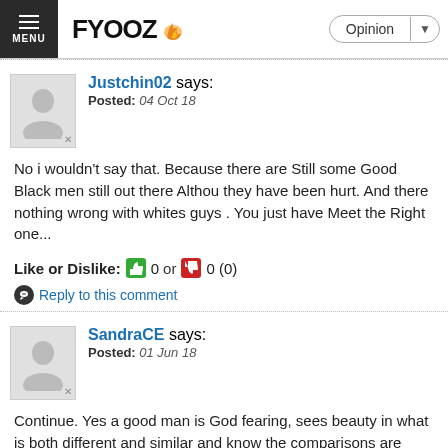FYOOZ | Opinion
Justchin02 says: Posted: 04 Oct 18
No i wouldn't say that. Because there are Still some Good Black men still out there Althou they have been hurt. And there nothing wrong with whites guys . You just have Meet the Right one...
Like or Dislike: 0 or 0 (0)
Reply to this comment
SandraCE says: Posted: 01 Jun 18
Continue. Yes a good man is God fearing, sees beauty in what is both different and similar and know the comparisons are insignificant but understands that the true essence of that woman is only appreciated by his abilities to be kind, loving, patient and loyal!